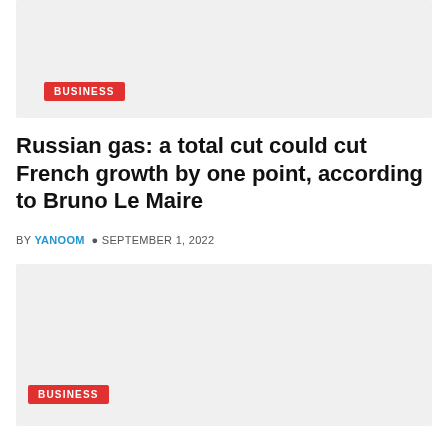[Figure (photo): Top image placeholder with BUSINESS category tag overlay]
Russian gas: a total cut could cut French growth by one point, according to Bruno Le Maire
BY YANOOM  © SEPTEMBER 1, 2022
[Figure (photo): Bottom image placeholder with BUSINESS category tag overlay]